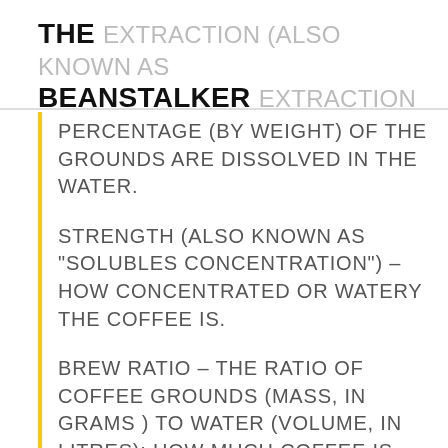THE BEANSTALKER
PERCENTAGE (BY WEIGHT) OF THE GROUNDS ARE DISSOLVED IN THE WATER.
STRENGTH (ALSO KNOWN AS "SOLUBLES CONCENTRATION") – HOW CONCENTRATED OR WATERY THE COFFEE IS.
BREW RATIO – THE RATIO OF COFFEE GROUNDS (MASS, IN GRAMS ) TO WATER (VOLUME, IN LITRES): HOW MUCH COFFEE IS USED FOR A GIVEN